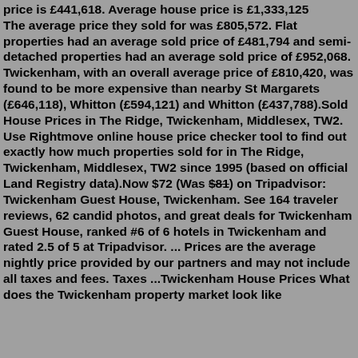price is £441,618. Average house price is £1,333,125 The average price they sold for was £805,572. Flat properties had an average sold price of £481,794 and semi-detached properties had an average sold price of £952,068. Twickenham, with an overall average price of £810,420, was found to be more expensive than nearby St Margarets (£646,118), Whitton (£594,121) and Whitton (£437,788).Sold House Prices in The Ridge, Twickenham, Middlesex, TW2. Use Rightmove online house price checker tool to find out exactly how much properties sold for in The Ridge, Twickenham, Middlesex, TW2 since 1995 (based on official Land Registry data).Now $72 (Was $81) on Tripadvisor: Twickenham Guest House, Twickenham. See 164 traveler reviews, 62 candid photos, and great deals for Twickenham Guest House, ranked #6 of 6 hotels in Twickenham and rated 2.5 of 5 at Tripadvisor. ... Prices are the average nightly price provided by our partners and may not include all taxes and fees. Taxes ...Twickenham House Prices What does the Twickenham property market look like